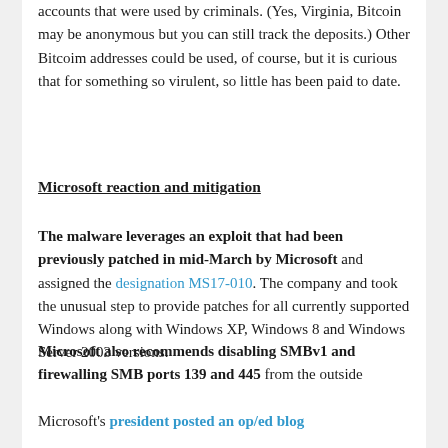accounts that were used by criminals. (Yes, Virginia, Bitcoin may be anonymous but you can still track the deposits.) Other Bitcoim addresses could be used, of course, but it is curious that for something so virulent, so little has been paid to date.
Microsoft reaction and mitigation
The malware leverages an exploit that had been previously patched in mid-March by Microsoft and assigned the designation MS17-010. The company and took the unusual step to provide patches for all currently supported Windows along with Windows XP, Windows 8 and Windows Server 2003 versions.
Microsoft also recommends disabling SMBv1 and firewalling SMB ports 139 and 445 from the outside Internet. If you haven't been doing these things, you have a lot of other problems besides WannaCry.
Microsoft's president posted an op/ed blog